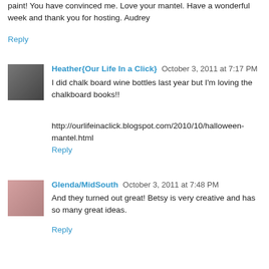I must be the last person on the planet to buy chalkboard paint! You have convinced me. Love your mantel. Have a wonderful week and thank you for hosting. Audrey
Reply
Heather{Our Life In a Click}  October 3, 2011 at 7:17 PM
I did chalk board wine bottles last year but I'm loving the chalkboard books!!
http://ourlifeinaclick.blogspot.com/2010/10/halloween-mantel.html
Reply
Glenda/MidSouth  October 3, 2011 at 7:48 PM
And they turned out great! Betsy is very creative and has so many great ideas.
Reply